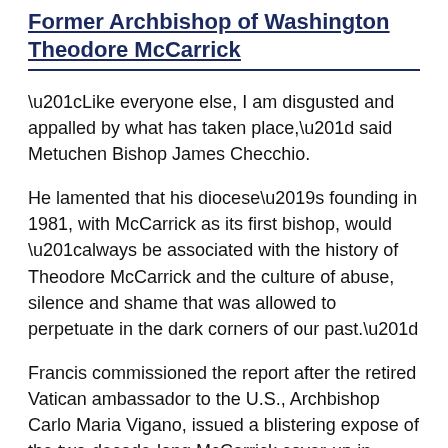Former Archbishop of Washington Theodore McCarrick
“Like everyone else, I am disgusted and appalled by what has taken place,” said Metuchen Bishop James Checchio.
He lamented that his diocese’s founding in 1981, with McCarrick as its first bishop, would “always be associated with the history of Theodore McCarrick and the culture of abuse, silence and shame that was allowed to perpetuate in the dark corners of our past.”
Francis commissioned the report after the retired Vatican ambassador to the U.S., Archbishop Carlo Maria Vigano, issued a blistering expose of the two-decade-long McCarrick cover-up in 2018, naming around two dozen U.S. and Vatican officials who knew